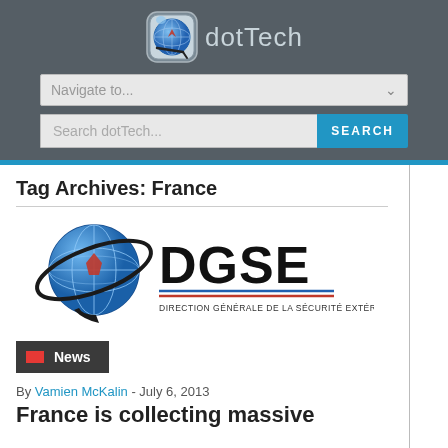[Figure (logo): dotTech website logo with globe icon and text 'dotTech']
Navigate to...
Search dotTech...  SEARCH
Tag Archives: France
[Figure (logo): DGSE logo - Direction Générale de la Sécurité Extérieure with globe graphic]
News
By Vamien McKalin  -  July 6, 2013
France is collecting massive